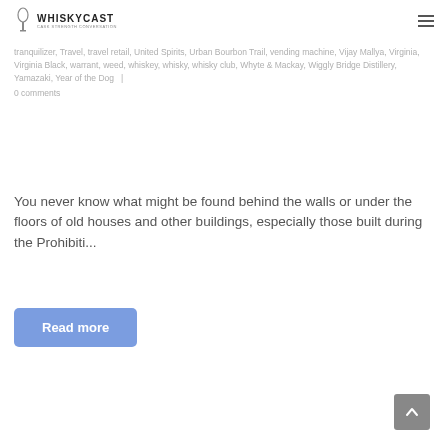WhiskyCast — Cask Strength Conversation
tranquilizer, Travel, travel retail, United Spirits, Urban Bourbon Trail, vending machine, Vijay Mallya, Virginia, Virginia Black, warrant, weed, whiskey, whisky, whisky club, Whyte & Mackay, Wiggly Bridge Distillery, Yamazaki, Year of the Dog   |
0 comments
You never know what might be found behind the walls or under the floors of old houses and other buildings, especially those built during the Prohibiti...
Read more